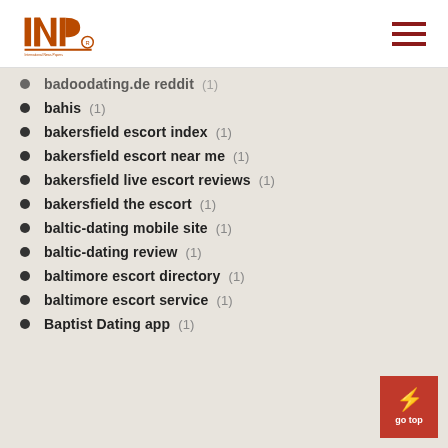INP logo and navigation menu
badoodating.de reddit (1)
bahis (1)
bakersfield escort index (1)
bakersfield escort near me (1)
bakersfield live escort reviews (1)
bakersfield the escort (1)
baltic-dating mobile site (1)
baltic-dating review (1)
baltimore escort directory (1)
baltimore escort service (1)
Baptist Dating app (1)